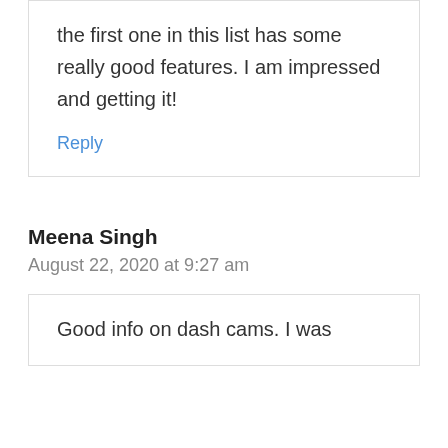the first one in this list has some really good features. I am impressed and getting it!
Reply
Meena Singh
August 22, 2020 at 9:27 am
Good info on dash cams. I was